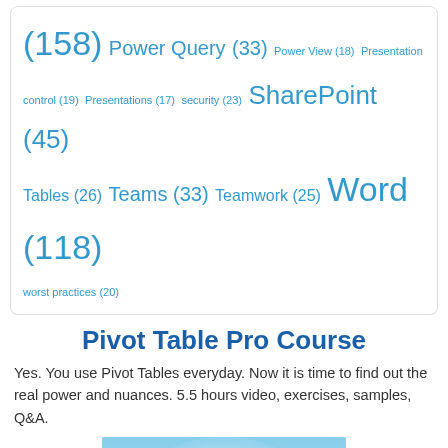(158) Power Query (33) Power View (18) Presentation control (19) Presentations (17) security (23) SharePoint (45) Tables (26) Teams (33) Teamwork (25) Word (118) worst practices (20)
Pivot Table Pro Course
Yes. You use Pivot Tables everyday. Now it is time to find out the real power and nuances. 5.5 hours video, exercises, samples, Q&A.
[Figure (illustration): Course promotional image showing snowy mountain background with a Pivot Table icon (spreadsheet with arrow) overlaid on top, and a Microsoft Excel logo in the bottom right corner.]